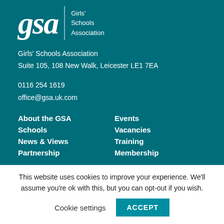[Figure (logo): GSA Girls' Schools Association logo with large italic 'gsa' text and vertical divider beside stacked text 'Girls' Schools Association']
Girls' Schools Association
Suite 105, 108 New Walk, Leicester LE1 7EA
0116 254 1619
office@gsa.uk.com
About the GSA
Events
Schools
Vacancies
News & Views
Training
Partnership
Membership
This website uses cookies to improve your experience. We'll assume you're ok with this, but you can opt-out if you wish.
Cookie settings
ACCEPT